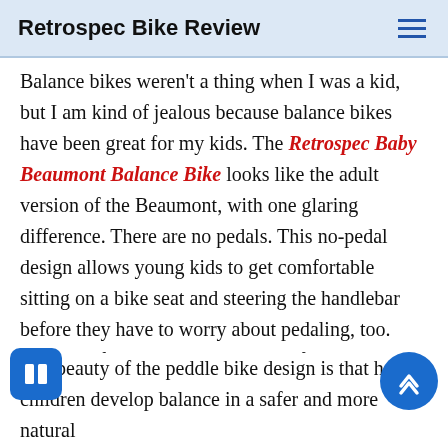Retrospec Bike Review
Balance bikes weren't a thing when I was a kid, but I am kind of jealous because balance bikes have been great for my kids. The Retrospec Baby Beaumont Balance Bike looks like the adult version of the Beaumont, with one glaring difference. There are no pedals. This no-pedal design allows young kids to get comfortable sitting on a bike seat and steering the handlebar before they have to worry about pedaling, too. Trying to figure out rear brakes vs front brakes can also get a little crazy for a small kid, but with the balance bike, your toddler can just use their feet to stop.
The beauty of the peddle bike design is that helps children develop balance in a safer and more natural